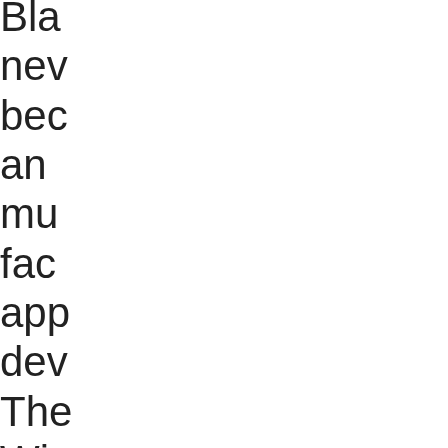Bla
nev
bec
an
mu
fac
app
dev
The
Win
Mo
ver
adj
qui
to
tha
fac
and
offe
the
bes
of
both
Wi